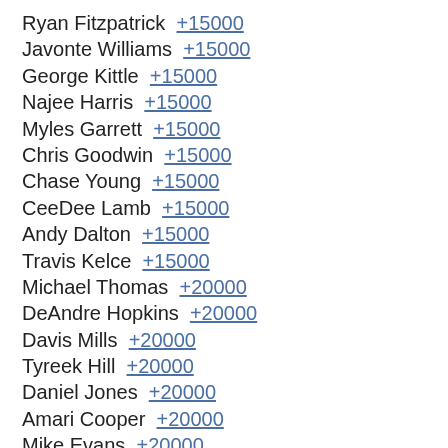Ryan Fitzpatrick  +15000
Javonte Williams  +15000
George Kittle  +15000
Najee Harris  +15000
Myles Garrett  +15000
Chris Goodwin  +15000
Chase Young  +15000
CeeDee Lamb  +15000
Andy Dalton  +15000
Travis Kelce  +15000
Michael Thomas  +20000
DeAndre Hopkins  +20000
Davis Mills  +20000
Tyreek Hill  +20000
Daniel Jones  +20000
Amari Cooper  +20000
Mike Evans  +20000